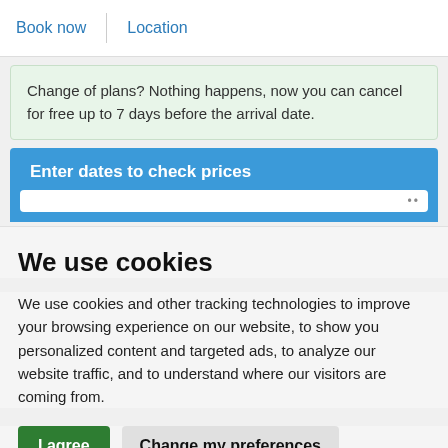Book now | Location
Change of plans? Nothing happens, now you can cancel for free up to 7 days before the arrival date.
Enter dates to check prices
We use cookies
We use cookies and other tracking technologies to improve your browsing experience on our website, to show you personalized content and targeted ads, to analyze our website traffic, and to understand where our visitors are coming from.
I agree | Change my preferences